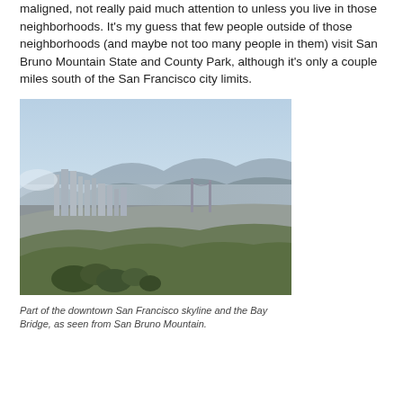maligned, not really paid much attention to unless you live in those neighborhoods. It's my guess that few people outside of those neighborhoods (and maybe not too many people in them) visit San Bruno Mountain State and County Park, although it's only a couple miles south of the San Francisco city limits.
[Figure (photo): Panoramic photo of the downtown San Francisco skyline and the Bay Bridge as seen from San Bruno Mountain, with green hills in the foreground and hazy mountains in the background.]
Part of the downtown San Francisco skyline and the Bay Bridge, as seen from San Bruno Mountain.